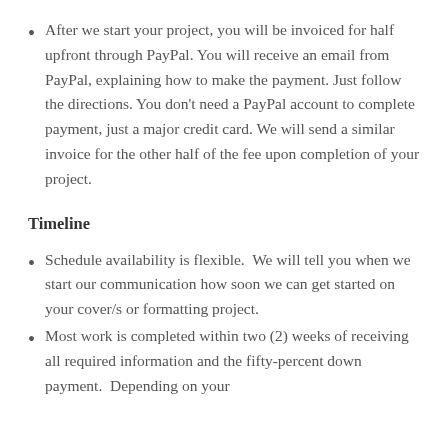After we start your project, you will be invoiced for half upfront through PayPal. You will receive an email from PayPal, explaining how to make the payment. Just follow the directions. You don't need a PayPal account to complete payment, just a major credit card. We will send a similar invoice for the other half of the fee upon completion of your project.
Timeline
Schedule availability is flexible.  We will tell you when we start our communication how soon we can get started on your cover/s or formatting project.
Most work is completed within two (2) weeks of receiving all required information and the fifty-percent down payment.  Depending on your